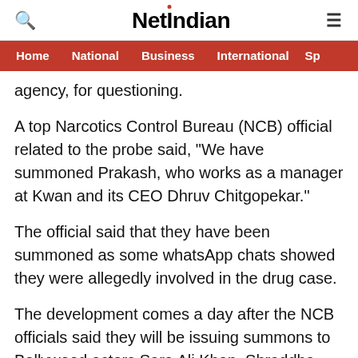NetIndian
Home  National  Business  International  Sp
agency, for questioning.
A top Narcotics Control Bureau (NCB) official related to the probe said, "We have summoned Prakash, who works as a manager at Kwan and its CEO Dhruv Chitgopekar."
The official said that they have been summoned as some whatsApp chats showed they were allegedly involved in the drug case.
The development comes a day after the NCB officials said they will be issuing summons to Bollywood actors Sara Ali Khan, Shraddha Kapoor, Rakul Preet Singh and fashion designer Simone Kambhatta this week for questioning in connection with it...